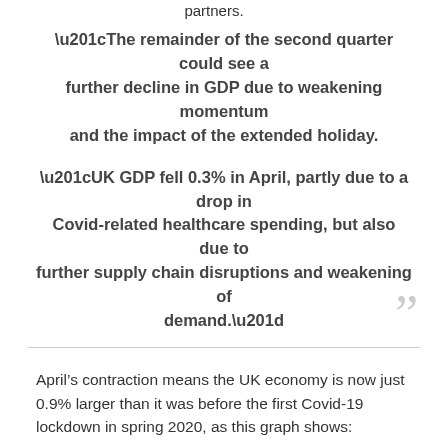partners.
“The remainder of the second quarter could see a further decline in GDP due to weakening momentum and the impact of the extended holiday.
“UK GDP fell 0.3% in April, partly due to a drop in Covid-related healthcare spending, but also due to further supply chain disruptions and weakening of demand.”
April’s contraction means the UK economy is now just 0.9% larger than it was before the first Covid-19 lockdown in spring 2020, as this graph shows: